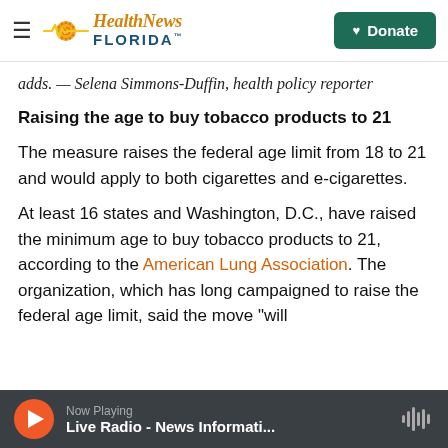Health News Florida — Donate
adds. — Selena Simmons-Duffin, health policy reporter
Raising the age to buy tobacco products to 21
The measure raises the federal age limit from 18 to 21 and would apply to both cigarettes and e-cigarettes.
At least 16 states and Washington, D.C., have raised the minimum age to buy tobacco products to 21, according to the American Lung Association. The organization, which has long campaigned to raise the federal age limit, said the move "will
Now Playing — Live Radio - News Informati...